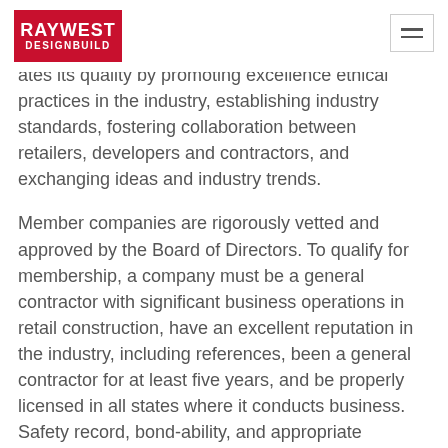RAYWEST DESIGNBUILD
ates its quality by promoting excellence ethical practices in the industry, establishing industry standards, fostering collaboration between retailers, developers and contractors, and exchanging ideas and industry trends.
Member companies are rigorously vetted and approved by the Board of Directors. To qualify for membership, a company must be a general contractor with significant business operations in retail construction, have an excellent reputation in the industry, including references, been a general contractor for at least five years, and be properly licensed in all states where it conducts business. Safety record, bond-ability, and appropriate insurance coverage are also reviewed.
With this addition under our belt, we at RAYWEST understand the level of service expected from us and find it